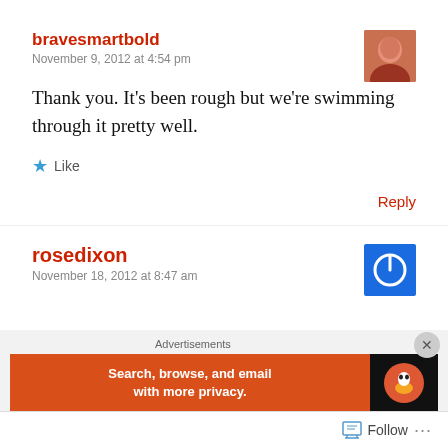bravesmartbold
November 9, 2012 at 4:54 pm
Thank you. It's been rough but we're swimming through it pretty well.
Like
Reply
rosedixon
November 18, 2012 at 8:47 am
Advertisements
Search, browse, and email with more privacy.
Follow